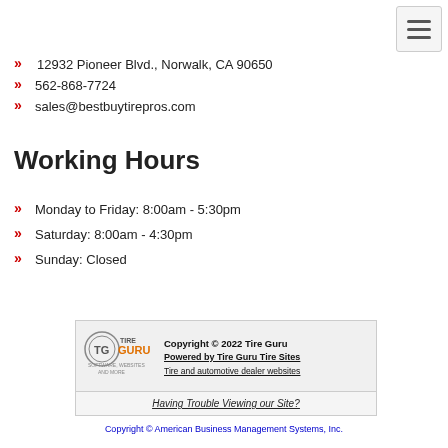12932 Pioneer Blvd., Norwalk, CA 90650
562-868-7724
sales@bestbuytirepros.com
Working Hours
Monday to Friday: 8:00am - 5:30pm
Saturday: 8:00am - 4:30pm
Sunday: Closed
[Figure (logo): Tire Guru logo with orange GURU text and TG emblem, tagline SOFTWARE, WEBSITES AND MORE]
Copyright © 2022 Tire Guru Powered by Tire Guru Tire Sites Tire and automotive dealer websites
Having Trouble Viewing our Site?
Copyright © American Business Management Systems, Inc.